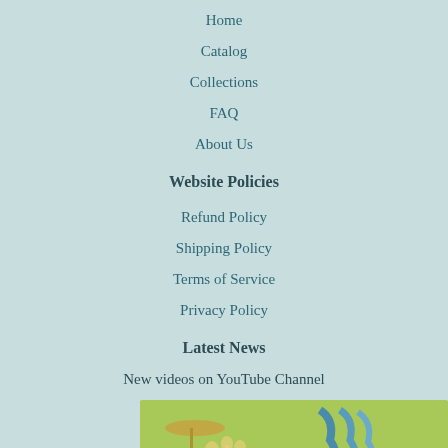Home
Catalog
Collections
FAQ
About Us
Website Policies
Refund Policy
Shipping Policy
Terms of Service
Privacy Policy
Latest News
New videos on YouTube Channel
[Figure (illustration): Partially visible illustration with a yellow-green background showing figures with glasses raised on the left and text 'The Exile' partially visible in dark red on the right]